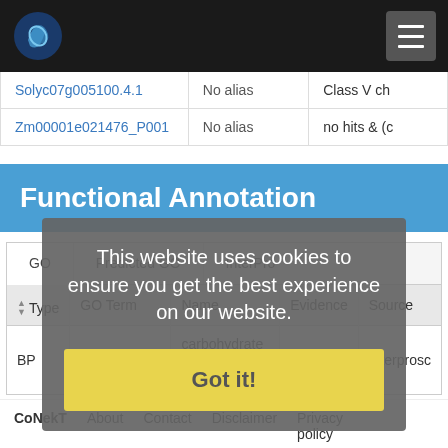CoNekT navigation bar with logo and menu button
| Gene | Alias | Description |
| --- | --- | --- |
| Solyc07g005100.4.1 | No alias | Class V ch |
| Zm00001e021476_P001 | No alias | no hits & (c |
Functional Annotation
| GO | Predicted GO | InterPro |
| --- | --- | --- |
| Type | GO Term | Name | Evidence | Source |
| --- | --- | --- | --- | --- |
| BP | GO:0005975 | carbohydrate metabolic process | IEA | Interprosc |
This website uses cookies to ensure you get the best experience on our website.
Got it!
CoNekT  About  Contact  Disclaimer  Privacy policy